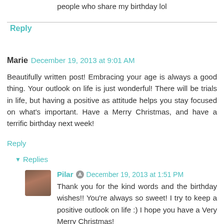people who share my birthday lol
Reply
Marie  December 19, 2013 at 9:01 AM
Beautifully written post! Embracing your age is always a good thing. Your outlook on life is just wonderful! There will be trials in life, but having a positive as attitude helps you stay focused on what's important. Have a Merry Christmas, and have a terrific birthday next week!
Reply
▼ Replies
Pilar  December 19, 2013 at 1:51 PM
Thank you for the kind words and the birthday wishes!! You're always so sweet! I try to keep a positive outlook on life :) I hope you have a Very Merry Christmas!